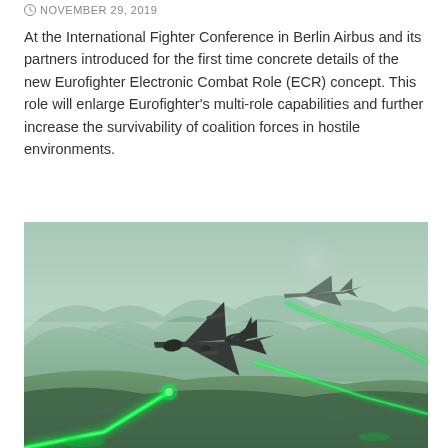NOVEMBER 29, 2019
At the International Fighter Conference in Berlin Airbus and its partners introduced for the first time concrete details of the new Eurofighter Electronic Combat Role (ECR) concept. This role will enlarge Eurofighter’s multi-role capabilities and further increase the survivability of coalition forces in hostile environments.
[Figure (photo): Artistic rendering of two Eurofighter jets flying low over mountainous terrain with green laser beams emanating from the aircraft, depicting an electronic combat role scenario.]